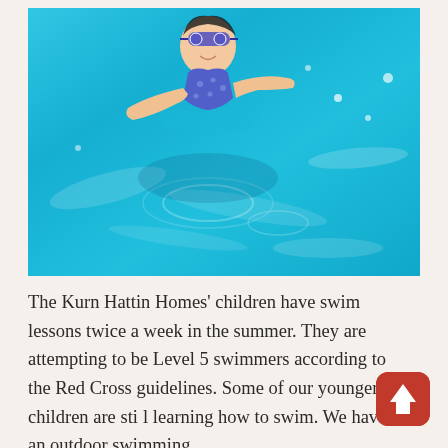[Figure (photo): A child swimming in a bright blue outdoor pool, wearing goggles and a blue swimsuit, with sunlight reflecting off the water surface]
The Kurn Hattin Homes' children have swim lessons twice a week in the summer. They are attempting to be Level 5 swimmers according to the Red Cross guidelines. Some of our younger children are still learning how to swim. We have an outdoor swimming